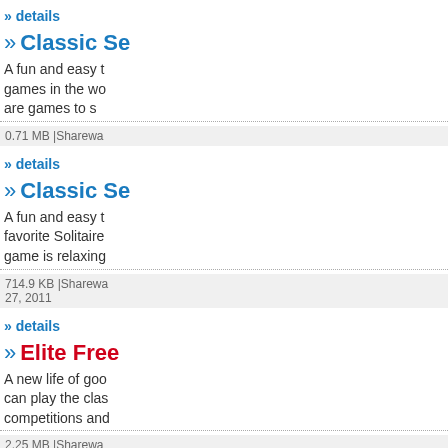» details
» Classic Se
A fun and easy t games in the wo are games to s
0.71 MB |Sharewa
» details
» Classic Se
A fun and easy t favorite Solitaire game is relaxing
714.9 KB |Sharewa 27, 2011
» details
» Elite Free
A new life of goo can play the clas competitions and
2.25 MB |Sharewa
» details
Listing 1-12 of 5